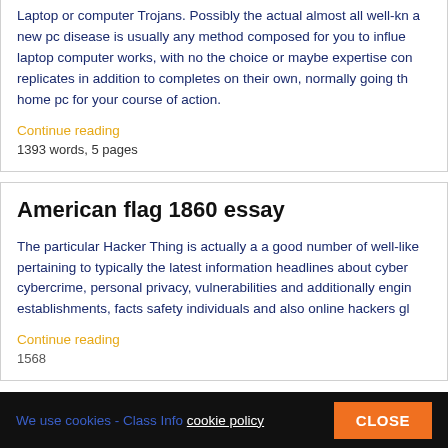Laptop or computer Trojans. Possibly the actual almost all well-kn a new pc disease is usually any method composed for you to influe laptop computer works, with no the choice or maybe expertise con replicates in addition to completes on their own, normally going th home pc for your course of action.
Continue reading
1393 words, 5 pages
American flag 1860 essay
The particular Hacker Thing is actually a a good number of well-like pertaining to typically the latest information headlines about cyber cybercrime, personal privacy, vulnerabilities and additionally engin establishments, facts safety individuals and also online hackers gl
Continue reading
1568 words, 8...
We use cookies - Class Info cookie policy  CLOSE